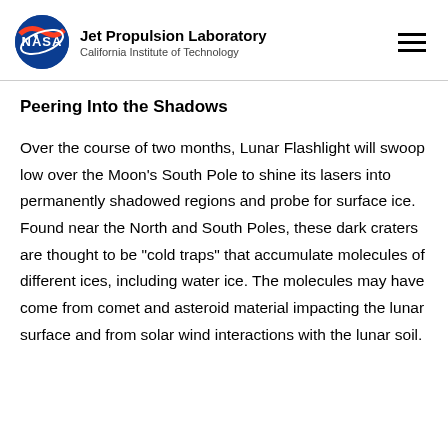Jet Propulsion Laboratory California Institute of Technology
Peering Into the Shadows
Over the course of two months, Lunar Flashlight will swoop low over the Moon's South Pole to shine its lasers into permanently shadowed regions and probe for surface ice. Found near the North and South Poles, these dark craters are thought to be "cold traps" that accumulate molecules of different ices, including water ice. The molecules may have come from comet and asteroid material impacting the lunar surface and from solar wind interactions with the lunar soil.